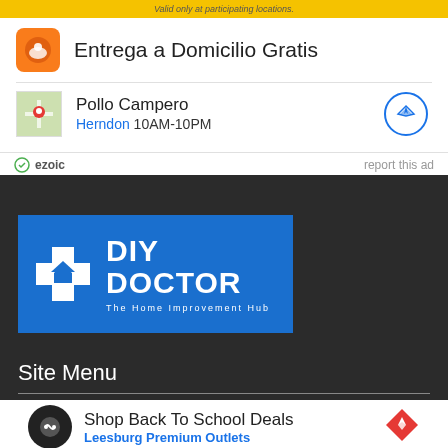[Figure (screenshot): Yellow promotional banner with text 'Valid only at participating locations.']
[Figure (advertisement): Ad for Entrega a Domicilio Gratis with orange icon]
Entrega a Domicilio Gratis
[Figure (advertisement): Ad for Pollo Campero Herndon 10AM-10PM with map thumbnail]
Pollo Campero
Herndon 10AM-10PM
ezoic   report this ad
[Figure (logo): DIY Doctor - The Home Improvement Hub logo on blue background with white cross/plus icon]
Site Menu
[Figure (advertisement): Ad for Shop Back To School Deals - Leesburg Premium Outlets with dark circular icon and diamond navigation button]